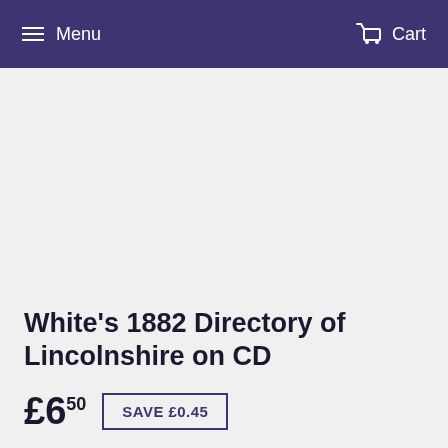Menu  Cart
White's 1882 Directory of Lincolnshire on CD
£6.50  SAVE £0.45